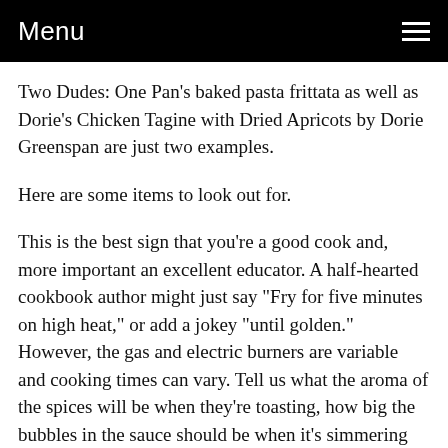Menu
Two Dudes: One Pan's baked pasta frittata as well as Dorie's Chicken Tagine with Dried Apricots by Dorie Greenspan are just two examples.
Here are some items to look out for.
This is the best sign that you're a good cook and, more important an excellent educator. A half-hearted cookbook author might just say "Fry for five minutes on high heat," or add a jokey "until golden." However, the gas and electric burners are variable and cooking times can vary. Tell us what the aroma of the spices will be when they're toasting, how big the bubbles in the sauce should be when it's simmering properly and how salty the curry paste should be. There's nothing